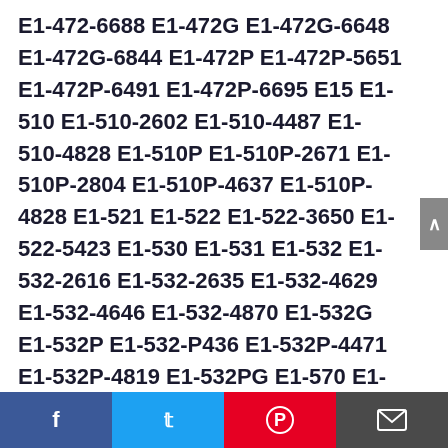E1-472-6688 E1-472G E1-472G-6648 E1-472G-6844 E1-472P E1-472P-5651 E1-472P-6491 E1-472P-6695 E15 E1-510 E1-510-2602 E1-510-4487 E1-510-4828 E1-510P E1-510P-2671 E1-510P-2804 E1-510P-4637 E1-510P-4828 E1-521 E1-522 E1-522-3650 E1-522-5423 E1-530 E1-531 E1-532 E1-532-2616 E1-532-2635 E1-532-4629 E1-532-4646 E1-532-4870 E1-532G E1-532P E1-532-P436 E1-532P-4471 E1-532P-4819 E1-532PG E1-570 E1-570-6417 E1-570G E1-571 E1-572 E1-572-3829 E1-572-5870 E1-572-6459 E1-572-6468 E1-572-6477 E1-572-6484 E1-572-6485 E1-572-6497 E1-572-6660 E1-572-6802 E1-572-6829 E1-572-6831 E1-572P E1-572P-
Facebook Twitter Pinterest Email